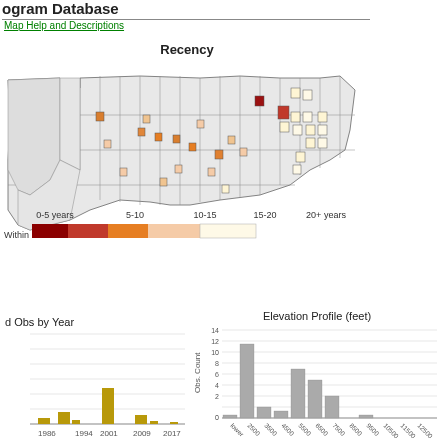ogram Database
Map Help and Descriptions
[Figure (map): Recency map of Montana showing observation points colored by recency (0-5, 5-10, 10-15, 15-20, 20+ years) across counties. Points range from dark red (most recent) to pale yellow (oldest). Legend bar below shows color gradient with labels.]
[Figure (bar-chart): d Obs by Year]
[Figure (histogram): Elevation Profile (feet)]